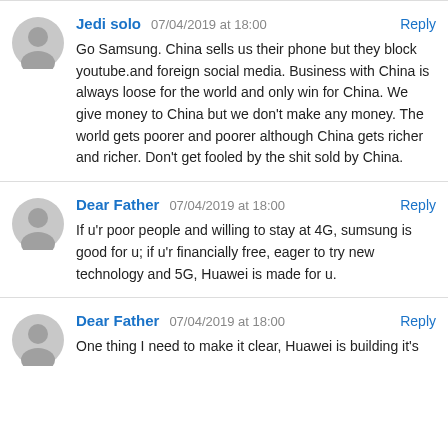Jedi solo   07/04/2019 at 18:00   Reply
Go Samsung. China sells us their phone but they block youtube.and foreign social media. Business with China is always loose for the world and only win for China. We give money to China but we don't make any money. The world gets poorer and poorer although China gets richer and richer. Don't get fooled by the shit sold by China.
Dear Father   07/04/2019 at 18:00   Reply
If u'r poor people and willing to stay at 4G, sumsung is good for u; if u'r financially free, eager to try new technology and 5G, Huawei is made for u.
Dear Father   07/04/2019 at 18:00   Reply
One thing I need to make it clear, Huawei is building it's